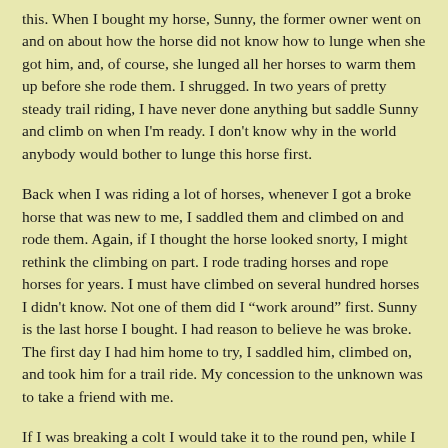this. When I bought my horse, Sunny, the former owner went on and on about how the horse did not know how to lunge when she got him, and, of course, she lunged all her horses to warm them up before she rode them. I shrugged. In two years of pretty steady trail riding, I have never done anything but saddle Sunny and climb on when I'm ready. I don't know why in the world anybody would bother to lunge this horse first.
Back when I was riding a lot of horses, whenever I got a broke horse that was new to me, I saddled them and climbed on and rode them. Again, if I thought the horse looked snorty, I might rethink the climbing on part. I rode trading horses and rope horses for years. I must have climbed on several hundred horses I didn't know. Not one of them did I “work around” first. Sunny is the last horse I bought. I had reason to believe he was broke. The first day I had him home to try, I saddled him, climbed on, and took him for a trail ride. My concession to the unknown was to take a friend with me.
If I was breaking a colt I would take it to the round pen, while I taught that colt to carry the saddle and respond to my signals. Lots and lots has been written about the many different ways people accomplish this, and I think anything I would have done, I did...